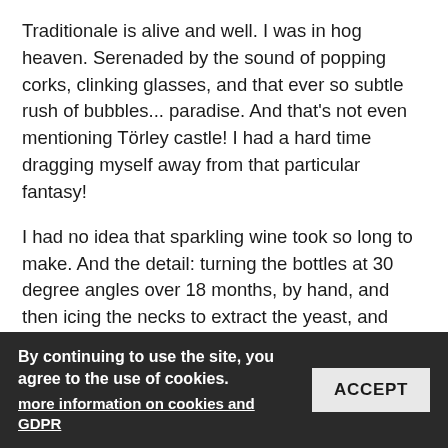Traditionale is alive and well. I was in hog heaven. Serenaded by the sound of popping corks, clinking glasses, and that ever so subtle rush of bubbles... paradise. And that's not even mentioning Törley castle! I had a hard time dragging myself away from that particular fantasy!
I had no idea that sparkling wine took so long to make. And the detail: turning the bottles at 30 degree angles over 18 months, by hand, and then icing the necks to extract the yeast, and picking the most acidic grapes to begin with! A far cry from adding some carbon to a bottle of white! Had I to start life all over again, I'd seriously consider a careers as a champagne master!
That afternoon, we wandered the streets of Budafok with our wine glasses, stopping at various pincek (cellars) to sample what they had on offer. It's all a bit of a bazaar-like atmosphere, from cellar to cellar, from good to bad, to indifferent... not to mention the four bottles of bubbles I just had to buy! (De Wimmen are coming over in October and with them, it always
By continuing to use the site, you agree to the use of cookies. more information on cookies and GDPR  ACCEPT